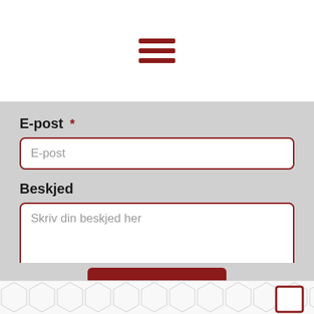[Figure (illustration): Hamburger menu icon with three horizontal dark red lines]
E-post *
E-post (placeholder text in input field)
Beskjed
Skriv din beskjed her (placeholder text in textarea)
[Figure (illustration): Dark red SEND button with envelope icon]
[Figure (illustration): Small outlined rectangle in bottom right corner (scroll indicator)]